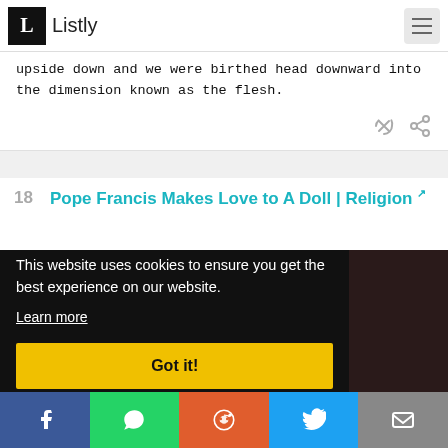Listly
upside down and we were birthed head downward into the dimension known as the flesh.
18 Pope Francis Makes Love to A Doll | Religion
[Figure (screenshot): Cookie consent overlay on dark background showing: 'This website uses cookies to ensure you get the best experience on our website. Learn more' with a yellow 'Got it!' button]
Social share bar: Facebook, WhatsApp, Reddit, Twitter, Email